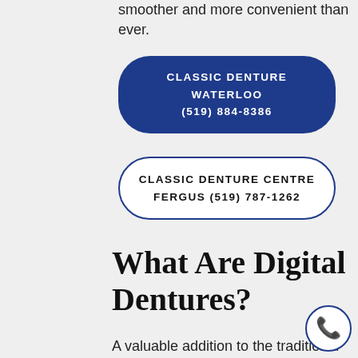smoother and more convenient than ever.
CLASSIC DENTURE WATERLOO
(519) 884-8386
CLASSIC DENTURE CENTRE
FERGUS (519) 787-1262
What Are Digital Dentures?
A valuable addition to the traditional way of making dentures, digital dentures use unique technology to offer a more